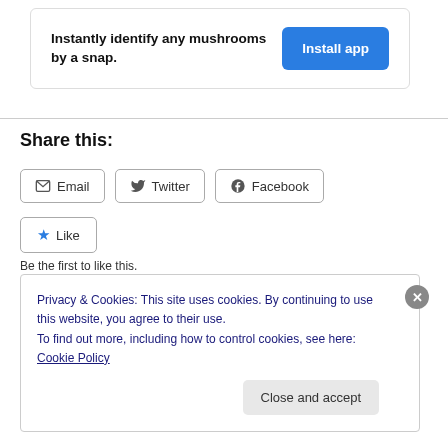[Figure (other): Advertisement banner with text 'Instantly identify any mushrooms by a snap.' and a blue 'Install app' button]
Share this:
Email  Twitter  Facebook
Like
Be the first to like this.
Privacy & Cookies: This site uses cookies. By continuing to use this website, you agree to their use.
To find out more, including how to control cookies, see here: Cookie Policy
Close and accept